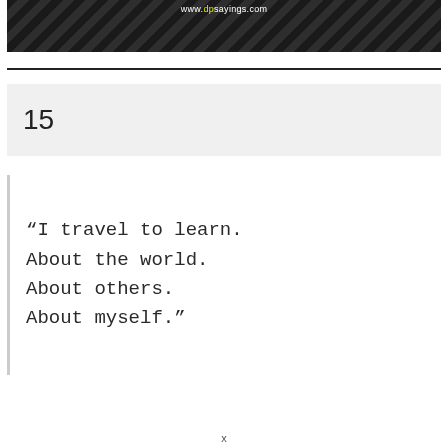[Figure (photo): Dark photo banner with diagonal stripe pattern and watermark text 'www.dpsayings.com' in white and yellow]
15
“I travel to learn. About the world. About others. About myself.”
x